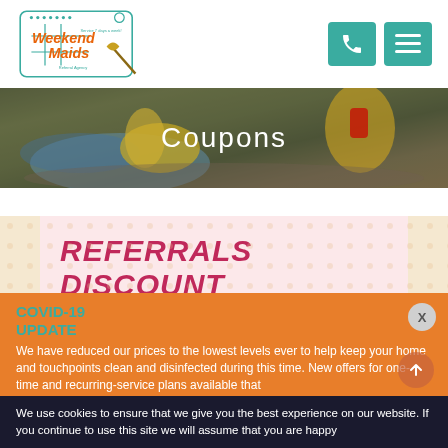[Figure (logo): Weekend Maids Referral Agency logo with broom and hashtag design, orange and teal colors]
[Figure (other): Teal phone icon button and teal hamburger menu button in header]
[Figure (photo): Hero banner showing cleaning gloves and cloth with dark overlay]
Coupons
REFERRALS DISCOUNT
COVID-19
UPDATE
We have reduced our prices to the lowest levels ever to help keep your home and touchpoints clean and disinfected during this time. New offers for one-time and recurring-service plans available that
We use cookies to ensure that we give you the best experience on our website. If you continue to use this site we will assume that you are happy